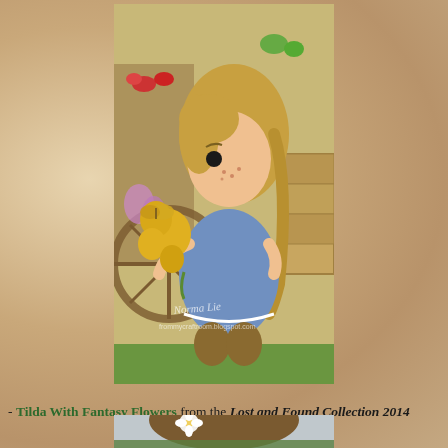[Figure (illustration): Colored illustration of Tilda doll character with long blonde hair, blue dress with lace trim, brown boots, holding a yellow fantasy flower with a butterfly. Background shows a wooden wagon wheel, wooden crates, and colorful flowers. Watermark reads 'Norma Lie frommycraftroom.blogspot.com'.]
- Tilda With Fantasy Flowers from the Lost and Found Collection 2014
[Figure (illustration): Partial view of another Tilda doll illustration showing brown hair with white flower, cropped at bottom of page.]